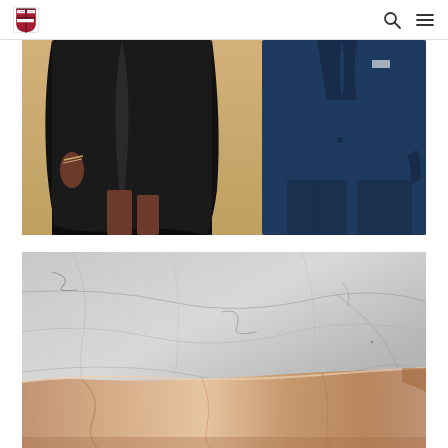Harvard University website header with shield logo, search icon, and menu icon
[Figure (photo): Close-up photograph of two people standing on sandy ground. One person is wearing a black academic graduation gown, and another is wearing a navy blue suit. The photo is cropped to show from approximately waist to knee level.]
[Figure (photo): Close-up photograph of a beige/champagne-colored satin fabric garment or object lying on a marble surface with gray veining.]